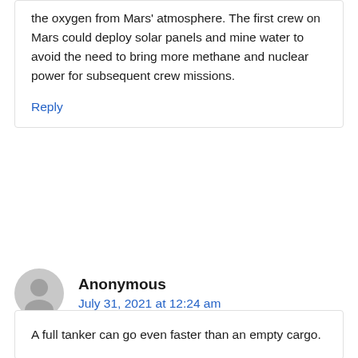the oxygen from Mars' atmosphere. The first crew on Mars could deploy solar panels and mine water to avoid the need to bring more methane and nuclear power for subsequent crew missions.
Reply
Anonymous
July 31, 2021 at 12:24 am
A full tanker can go even faster than an empty cargo.